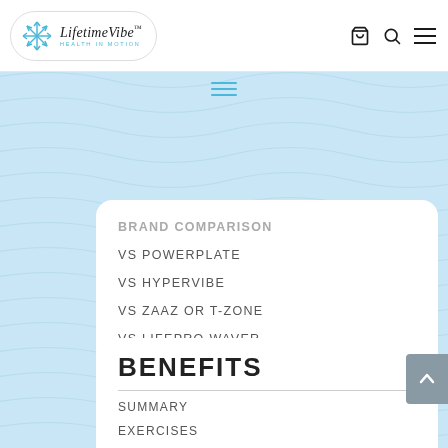[Figure (logo): LifetimeVibe Health In Motion logo with snowflake icon in a pill-shaped container]
LifetimeVibe - Health In Motion navigation header with cart, search, and menu icons
BRAND COMPARISON (partially visible, truncated)
VS POWERPLATE
VS HYPERVIBE
VS ZAAZ OR T-ZONE
VS LIFEPRO WAVER
BENEFITS
SUMMARY
EXERCISES
ARTHRITIS